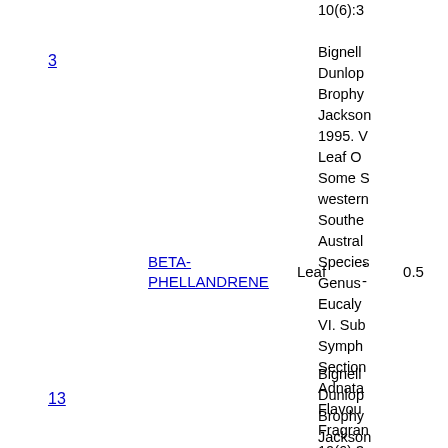10(6):3
Bignell Dunlop Brophy Jackson 1995. V Leaf O Some S western Southe Austral Species Genus Eucaly VI. Sub Symph Section Adnata Flavou Fragran 10(6):3
3
| Compound | Part | Col3 | 0.5 | -0.46 |
| --- | --- | --- | --- | --- |
| BETA-PHELLANDRENE | Leaf | -- | 0.5 | -0.46 |
13
Bignell Dunlop Brophy Jackson